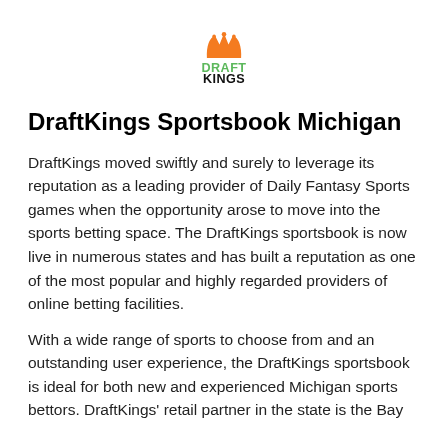[Figure (logo): DraftKings logo with orange crown and green/black DRAFTKINGS text]
DraftKings Sportsbook Michigan
DraftKings moved swiftly and surely to leverage its reputation as a leading provider of Daily Fantasy Sports games when the opportunity arose to move into the sports betting space. The DraftKings sportsbook is now live in numerous states and has built a reputation as one of the most popular and highly regarded providers of online betting facilities.
With a wide range of sports to choose from and an outstanding user experience, the DraftKings sportsbook is ideal for both new and experienced Michigan sports bettors. DraftKings' retail partner in the state is the Bay